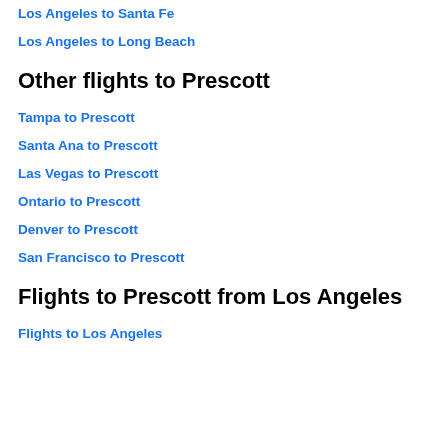Los Angeles to Santa Fe
Los Angeles to Long Beach
Other flights to Prescott
Tampa to Prescott
Santa Ana to Prescott
Las Vegas to Prescott
Ontario to Prescott
Denver to Prescott
San Francisco to Prescott
Flights to Prescott from Los Angeles
Flights to Los Angeles